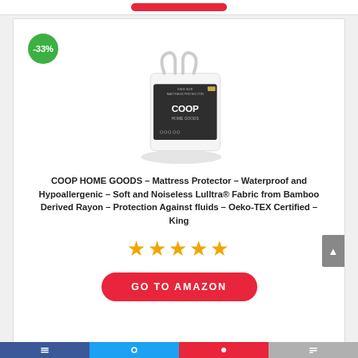[Figure (other): Top strip with red button partially visible at top]
[Figure (photo): COOP HOME GOODS mattress protector product packaged in white plastic bag with dark label, -33% discount badge in green circle overlay]
COOP HOME GOODS – Mattress Protector – Waterproof and Hypoallergenic – Soft and Noiseless Lulltra® Fabric from Bamboo Derived Rayon – Protection Against fluids – Oeko-TEX Certified – King
[Figure (other): 5 orange star rating icons]
GO TO AMAZON